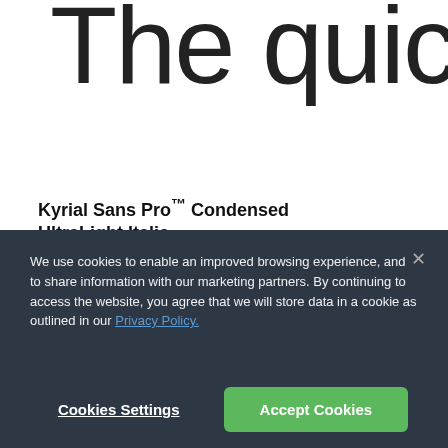The quick b
Kyrial Sans Pro™ Condensed UltraLight Italic
We use cookies to enable an improved browsing experience, and to share information with our marketing partners. By continuing to access the website, you agree that we will store data in a cookie as outlined in our Privacy Policy.
Cookies Settings
Accept Cookies